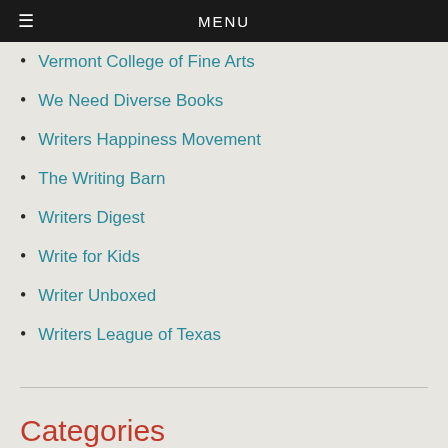MENU
Vermont College of Fine Arts
We Need Diverse Books
Writers Happiness Movement
The Writing Barn
Writers Digest
Write for Kids
Writer Unboxed
Writers League of Texas
Categories